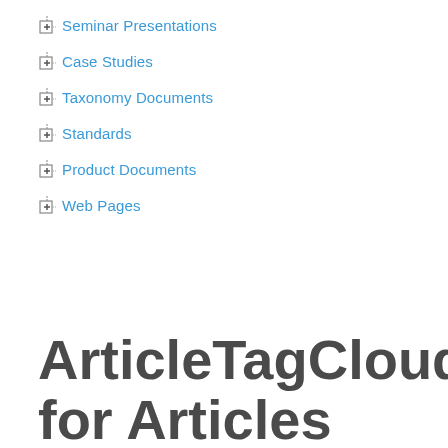Seminar Presentations
Case Studies
Taxonomy Documents
Standards
Product Documents
Web Pages
ArticleTagCloud for Articles Published by James A Robertson and Associates